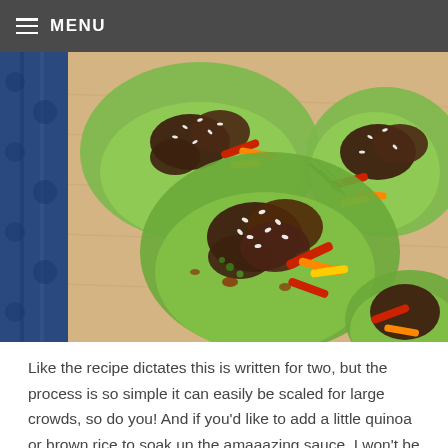MENU
[Figure (photo): Overhead view of beef lettuce wraps on a wooden cutting board. Butter lettuce cups filled with sautéed beef pieces, colorful bell pepper strips (red, orange, yellow), garnished with sesame seeds, chopped green onions, and herbs. A blue patterned fabric is visible on the left edge.]
Like the recipe dictates this is written for two, but the process is so simple it can easily be scaled for large crowds, so do you! And if you'd like to add a little quinoa or brown rice to soak up the amaaazing sauce, I won't be mad attcha 😉 xo